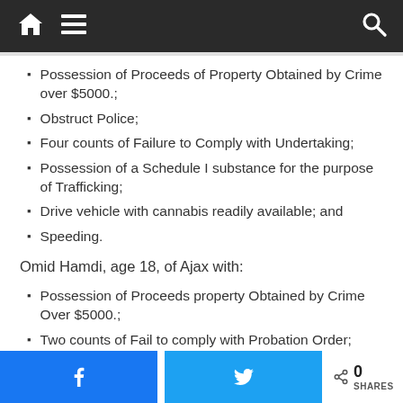Navigation bar with home, menu, and search icons
Possession of Proceeds of Property Obtained by Crime over $5000.;
Obstruct Police;
Four counts of Failure to Comply with Undertaking;
Possession of a Schedule I substance for the purpose of Trafficking;
Drive vehicle with cannabis readily available; and
Speeding.
Omid Hamdi, age 18, of Ajax with:
Possession of Proceeds property Obtained by Crime Over $5000.;
Two counts of Fail to comply with Probation Order;
Obstruct Police; and,
Possession of a Schedule I substance for the purpose of Trafficking.
Facebook share button | Twitter share button | 0 SHARES